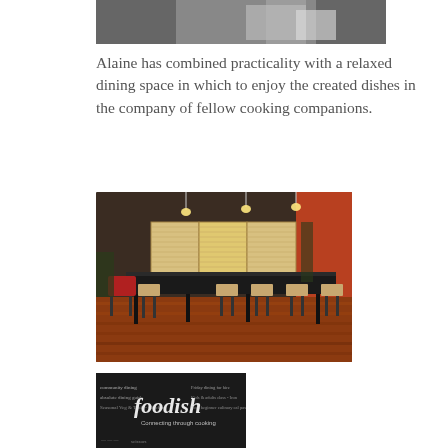[Figure (photo): Partial view of a person in a white shirt, cropped at the top of the page]
Alaine has combined practicality with a relaxed dining space in which to enjoy the created dishes in the company of fellow cooking companions.
[Figure (photo): Interior of a cooking class dining space with dark walls, pendant lights, long black tables with bar stools, a red chair, and warm-toned hardwood flooring]
[Figure (photo): Foodish chalkboard sign reading 'foodish – Connecting through cooking' with handwritten menu items and illustrations]